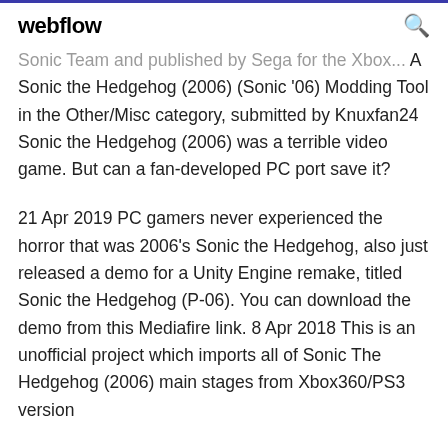webflow
Sonic Team and published by Sega for the Xbox... A Sonic the Hedgehog (2006) (Sonic '06) Modding Tool in the Other/Misc category, submitted by Knuxfan24 Sonic the Hedgehog (2006) was a terrible video game. But can a fan-developed PC port save it?
21 Apr 2019 PC gamers never experienced the horror that was 2006's Sonic the Hedgehog, also just released a demo for a Unity Engine remake, titled Sonic the Hedgehog (P-06). You can download the demo from this Mediafire link. 8 Apr 2018 This is an unofficial project which imports all of Sonic The Hedgehog (2006) main stages from Xbox360/PS3 version